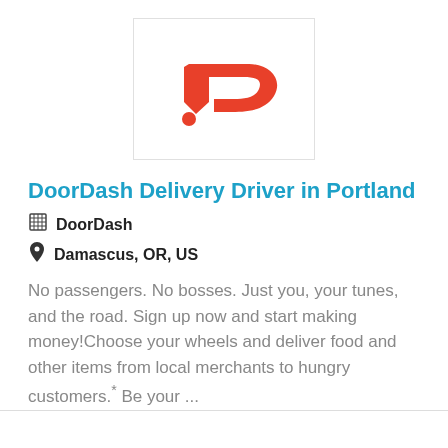[Figure (logo): DoorDash logo — red D-shaped arrow symbol on white background in a bordered box]
DoorDash Delivery Driver in Portland
🏢 DoorDash
📍 Damascus, OR, US
No passengers. No bosses. Just you, your tunes, and the road. Sign up now and start making money!Choose your wheels and deliver food and other items from local merchants to hungry customers.* Be your ...
More Details
[Figure (screenshot): Bottom card showing NEW badge and dark logo partial]
NEW